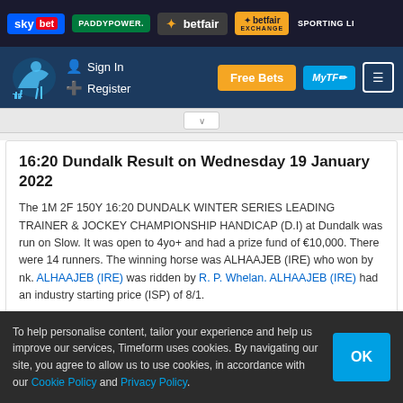[Figure (screenshot): Top advertisement bar with Sky Bet, Paddy Power, Betfair, Betfair Exchange, Sporting Life logos]
[Figure (screenshot): Navigation bar with horse logo, Sign In, Register links, Free Bets button, MyTF button, menu icon]
16:20 Dundalk Result on Wednesday 19 January 2022
The 1M 2F 150Y 16:20 DUNDALK WINTER SERIES LEADING TRAINER & JOCKEY CHAMPIONSHIP HANDICAP (D.I) at Dundalk was run on Slow. It was open to 4yo+ and had a prize fund of €10,000. There were 14 runners. The winning horse was ALHAAJEB (IRE) who won by nk. ALHAAJEB (IRE) was ridden by R. P. Whelan. ALHAAJEB (IRE) had an industry starting price (ISP) of 8/1.
How the rest of the runners fared:
NO SHOW (IRE) finished 2nd and was beaten by 0.20 - they had an ISP of 6/1
SHE'S GOOD COMPANY (IRE) finished 3rd and was beaten by 0.70 - they had an ISP of 33/1
To help personalise content, tailor your experience and help us improve our services, Timeform uses cookies. By navigating our site, you agree to allow us to use cookies, in accordance with our Cookie Policy and Privacy Policy.